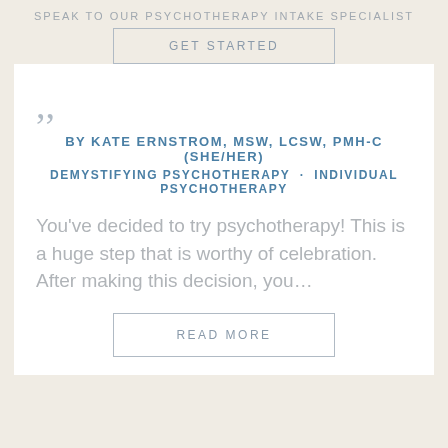SPEAK TO OUR PSYCHOTHERAPY INTAKE SPECIALIST
GET STARTED
BY KATE ERNSTROM, MSW, LCSW, PMH-C (SHE/HER)
DEMYSTIFYING PSYCHOTHERAPY · INDIVIDUAL PSYCHOTHERAPY
You've decided to try psychotherapy! This is a huge step that is worthy of celebration. After making this decision, you…
READ MORE